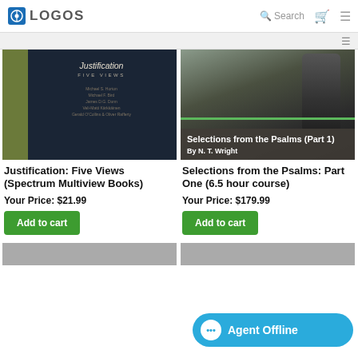LOGOS | Search
[Figure (screenshot): Logos Bible Software navigation header with logo, search, cart, and hamburger menu icons]
[Figure (photo): Book cover: Justification Five Views (Spectrum Multiview Books)]
Justification: Five Views (Spectrum Multiview Books)
Your Price: $21.99
Add to cart
[Figure (photo): Course cover image: Selections from the Psalms Part 1 by N. T. Wright — man in dark jacket with overlay text]
Selections from the Psalms: Part One (6.5 hour course)
Your Price: $179.99
Add to cart
[Figure (screenshot): Agent Offline chat bubble button at bottom right]